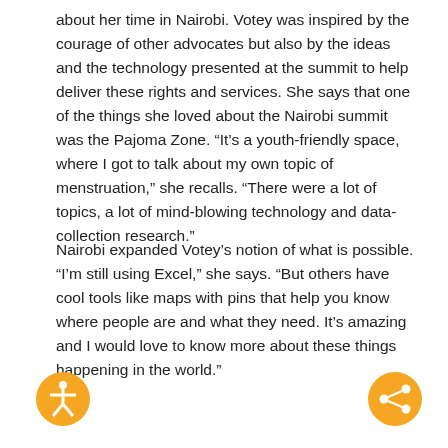about her time in Nairobi. Votey was inspired by the courage of other advocates but also by the ideas and the technology presented at the summit to help deliver these rights and services. She says that one of the things she loved about the Nairobi summit was the Pajoma Zone. “It’s a youth-friendly space, where I got to talk about my own topic of menstruation,” she recalls. “There were a lot of topics, a lot of mind-blowing technology and data-collection research.”
Nairobi expanded Votey’s notion of what is possible. “I’m still using Excel,” she says. “But others have cool tools like maps with pins that help you know where people are and what they need. It’s amazing and I would love to know more about these things happening in the world.”
[Figure (logo): Orange circle with a white accessibility person icon (arms and legs outstretched)]
[Figure (logo): Orange circle with a white share/connect icon (three dots connected by lines)]